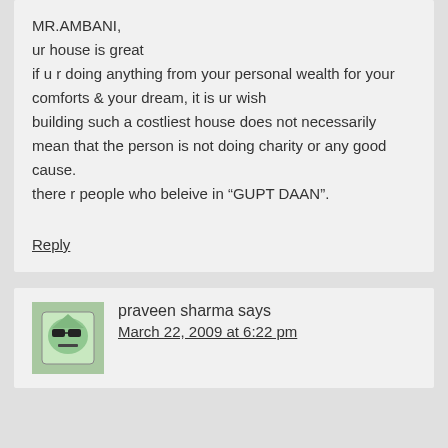MR.AMBANI,
ur house is great
if u r doing anything from your personal wealth for your comforts & your dream, it is ur wish
building such a costliest house does not necessarily mean that the person is not doing charity or any good cause.
there r people who beleive in “GUPT DAAN”.
Reply
praveen sharma says
March 22, 2009 at 6:22 pm